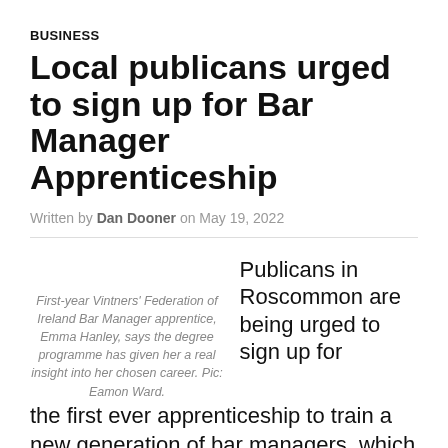BUSINESS
Local publicans urged to sign up for Bar Manager Apprenticeship
Written by Dan Dooner on May 19, 2022
First-year Vintners' Federation of Ireland Bar Manager apprentice, Emma Hanley, says the degree programme has given her a real insight into her chosen career. Pic: Eamon Ward.
Publicans in Roscommon are being urged to sign up for the first ever apprenticeship to train a new generation of bar managers, which was launched recently to tackle the crippling staff shortage faced